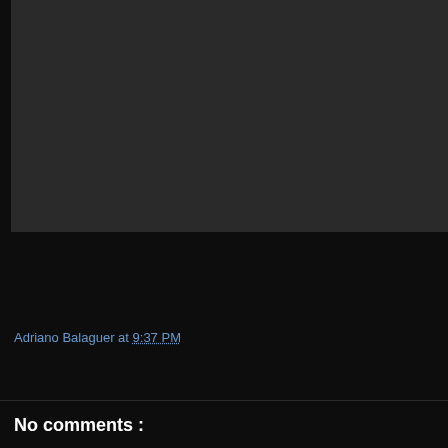[Figure (screenshot): Dark gray panel area, appears to be a video or image embed placeholder with dark background #2a2a2a]
Adriano Balaguer at 9:37 PM
Share
No comments :